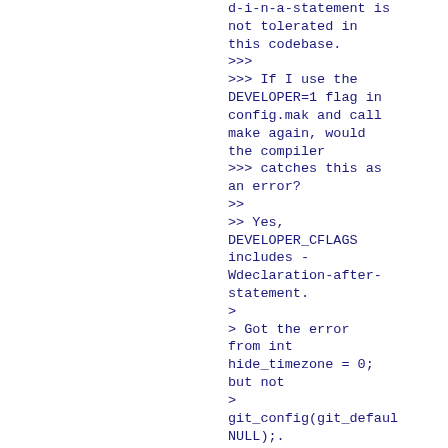d-i-n-a-statement is not tolerated in this codebase.
>>>
>>> If I use the DEVELOPER=1 flag in config.mak and call make again, would the compiler
>>> catches this as an error?
>>
>> Yes, DEVELOPER_CFLAGS includes -Wdeclaration-after-statement.
>
> Got the error from int hide_timezone = 0; but not
> git_config(git_default_config, NULL);.
> ...
>>>>> +  int hide_timezone = 0;

That is exactly expected